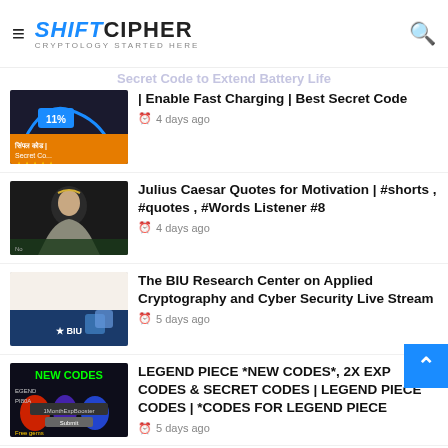ShiftCipher — Cryptology Started Here
Secret Code to Extend Battery Life | Enable Fast Charging | Best Secret Code — 4 days ago
Julius Caesar Quotes for Motivation | #shorts , #quotes , #Words Listener #8 — 4 days ago
The BIU Research Center on Applied Cryptography and Cyber Security Live Stream — 5 days ago
LEGEND PIECE *NEW CODES*, 2X EXP CODES & SECRET CODES | LEGEND PIECE CODES | *CODES FOR LEGEND PIECE — 5 days ago
How the reaction to Julius Caesar's death was underestimated